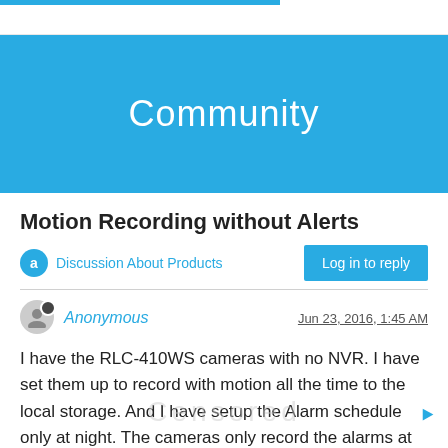Community
Motion Recording without Alerts
Discussion About Products
Log in to reply
Anonymous  Jun 23, 2016, 1:45 AM
I have the RLC-410WS cameras with no NVR. I have set them up to record with motion all the time to the local storage. And I have setup the Alarm schedule only at night. The cameras only record the alarms at night and